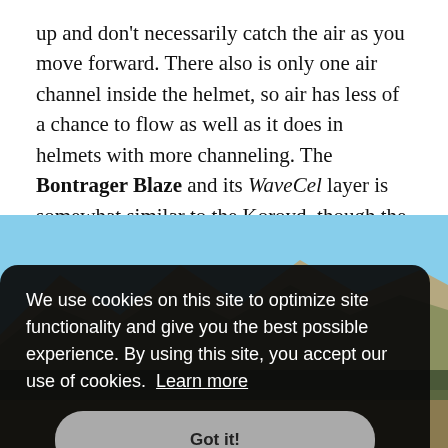up and don't necessarily catch the air as you move forward. There also is only one air channel inside the helmet, so air has less of a chance to flow as well as it does in helmets with more channeling. The Bontrager Blaze and its WaveCel layer is somewhat similar to the Koroyd, though the gaps in the structure are slightly larger and airflow is marginally better.
[Figure (photo): Mountain landscape photo showing rocky mountain peaks under a blue sky with trees on the slopes; partially obscured by a cookie consent overlay]
We use cookies on this site to optimize site functionality and give you the best possible experience. By using this site, you accept our use of cookies. Learn more
Got it!